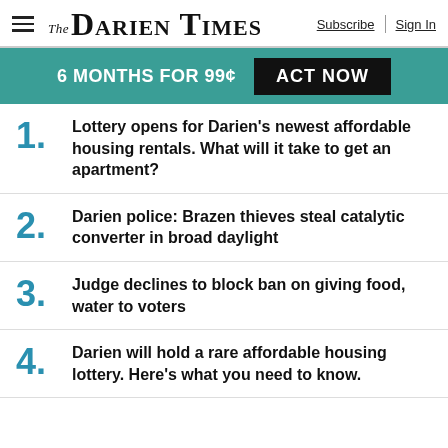The Darien Times | Subscribe | Sign In
6 MONTHS FOR 99¢  ACT NOW
1. Lottery opens for Darien's newest affordable housing rentals. What will it take to get an apartment?
2. Darien police: Brazen thieves steal catalytic converter in broad daylight
3. Judge declines to block ban on giving food, water to voters
4. Darien will hold a rare affordable housing lottery. Here's what you need to know.